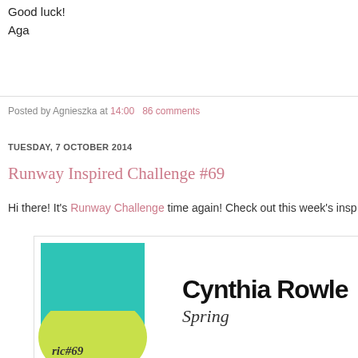Good luck!
Aga
Posted by Agnieszka at 14:00   86 comments
TUESDAY, 7 OCTOBER 2014
Runway Inspired Challenge #69
Hi there! It's Runway Challenge time again! Check out this week's insp
[Figure (illustration): Cynthia Rowley banner with teal and yellow-green logo block showing 'ric#69' and text 'Cynthia Rowle' and 'Spring' partially visible, with fashion model photo below showing blonde model in floral dress]